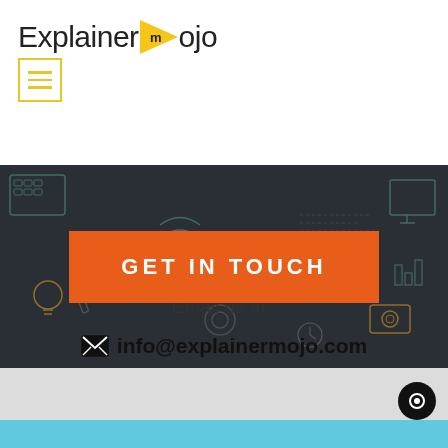Explainer mojo
[Figure (illustration): Hero banner with dark background showing technology and business icons/illustrations in outline style]
GET IN TOUCH
Email us at :
info@explainermojo.com